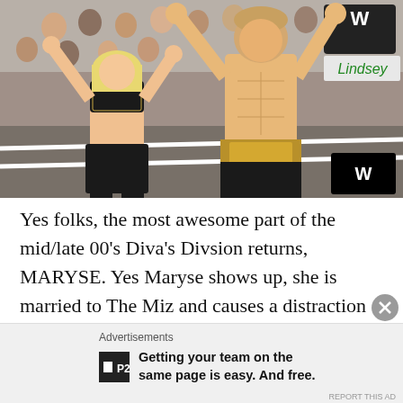[Figure (photo): WWE wrestling scene: a blonde woman in black crop top and a shirtless male wrestler both with arms raised in celebration in a wrestling ring, with a crowd in the background and a WWE logo visible]
Yes folks, the most awesome part of the mid/late 00's Diva's Divsion returns, MARYSE. Yes Maryse shows up, she is married to The Miz and causes a distraction at ring side. Which means, yes The Miz gets the pin and the title. I am thrilled Maryse is back on TV but I am not thrilled that Ryder had a 24 hour title reign. Disappointed in the booking but we shall see where it leads, if Ryder isn't seen
Advertisements
Getting your team on the same page is easy. And free.